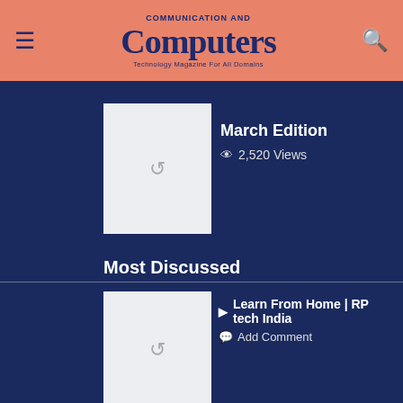Communication and Computers
March Edition
2,520 Views
Most Discussed
Learn From Home | RP tech India
Add Comment
TP-LINK, PROUDLY MADE IN INDIA
TarningPoint Marketing Opens Office at